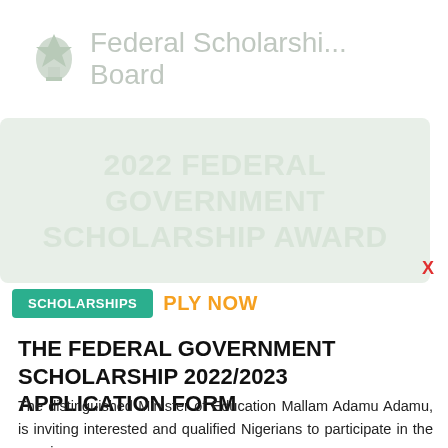Federal Scholarship Board
[Figure (illustration): 2022 Federal Government Scholarship Award banner with light green background]
SCHOLARSHIPS   PLY NOW
THE FEDERAL GOVERNMENT SCHOLARSHIP 2022/2023 APPLICATION FORM
The distinguished Minister of Education Mallam Adamu Adamu, is inviting interested and qualified Nigerians to participate in the ongoing 2021/2022 Nomination Computer Based Test...